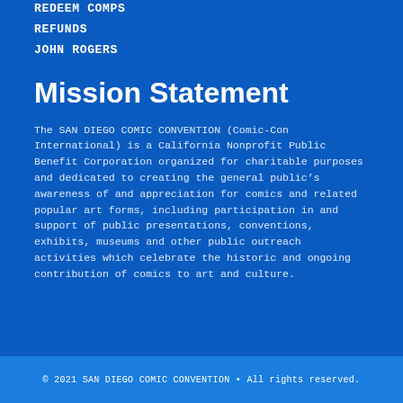REDEEM COMPS
REFUNDS
JOHN ROGERS
Mission Statement
The SAN DIEGO COMIC CONVENTION (Comic-Con International) is a California Nonprofit Public Benefit Corporation organized for charitable purposes and dedicated to creating the general public’s awareness of and appreciation for comics and related popular art forms, including participation in and support of public presentations, conventions, exhibits, museums and other public outreach activities which celebrate the historic and ongoing contribution of comics to art and culture.
© 2021 SAN DIEGO COMIC CONVENTION • All rights reserved.